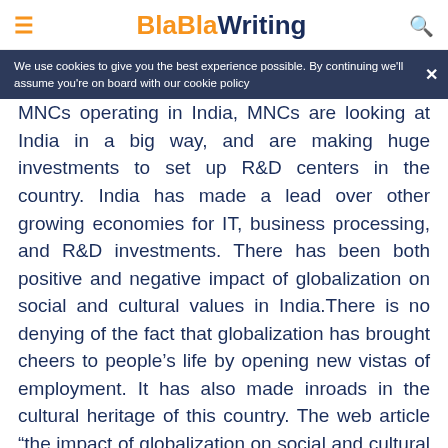BlaBlaWriting
We use cookies to give you the best experience possible. By continuing we'll assume you're on board with our cookie policy
MNCs operating in India, MNCs are looking at India in a big way, and are making huge investments to set up R&D centers in the country. India has made a lead over other growing economies for IT, business processing, and R&D investments. There has been both positive and negative impact of globalization on social and cultural values in India.There is no denying of the fact that globalization has brought cheers to people’s life by opening new vistas of employment. It has also made inroads in the cultural heritage of this country. The web article “the impact of globalization on social and cultural values in India”describes it at length.
Women Reservation Bill: Focus, Flaws, Politics and Social